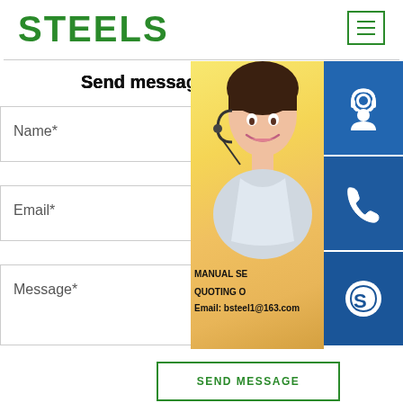STEELS
Send message
Name*
Email*
Message*
SEND MESSAGE
[Figure (screenshot): Contact page overlay showing a female customer service representative with headset on a yellow background, with three blue icon buttons on the right side (headset/support icon, phone icon, Skype icon), and text: MANUAL SE... / QUOTING O... / Email: bsteel1@163.com]